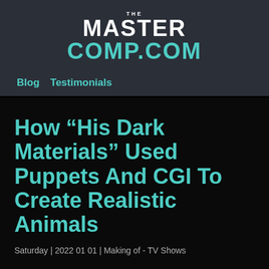[Figure (logo): The MasterComp.com logo with 'THE' in small text above 'MASTER' in white bold and 'COMP.COM' in teal bold]
Blog  Testimonials
How “His Dark Materials” Used Puppets And CGI To Create Realistic Animals
Saturday | 2022 01 01 | Making of - TV Shows